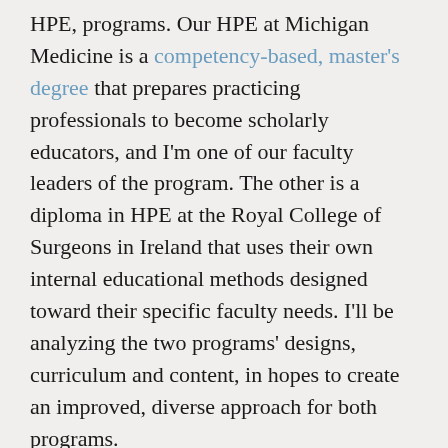HPE, programs. Our HPE at Michigan Medicine is a competency-based, master's degree that prepares practicing professionals to become scholarly educators, and I'm one of our faculty leaders of the program. The other is a diploma in HPE at the Royal College of Surgeons in Ireland that uses their own internal educational methods designed toward their specific faculty needs. I'll be analyzing the two programs' designs, curriculum and content, in hopes to create an improved, diverse approach for both programs.
We're hoping to have my family and parents come visit for a couple of weeks. I traveled as a kid and I think it helped define who I am now.